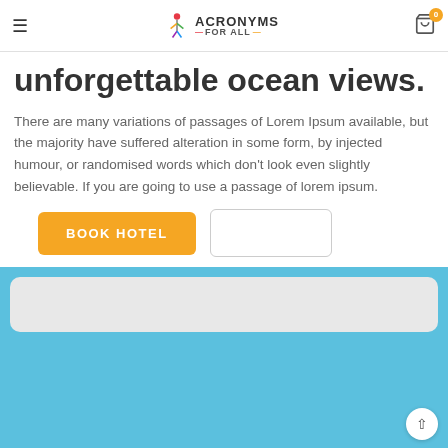Acronyms For All
unforgettable ocean views.
There are many variations of passages of Lorem Ipsum available, but the majority have suffered alteration in some form, by injected humour, or randomised words which don't look even slightly believable. If you are going to use a passage of lorem ipsum.
[Figure (screenshot): BOOK HOTEL orange button and an empty outline button side by side, followed by a blue section with a grey card and a scroll-to-top button.]